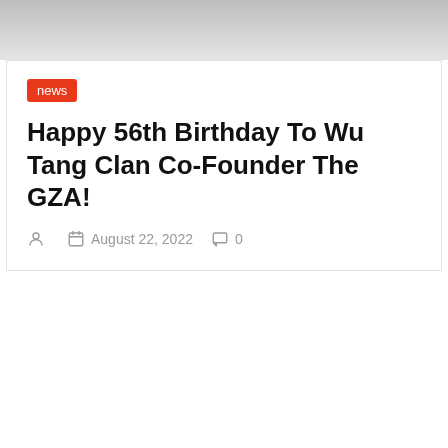[Figure (other): Gray gradient banner area at top of page]
news
Happy 56th Birthday To Wu Tang Clan Co-Founder The GZA!
August 22, 2022  0